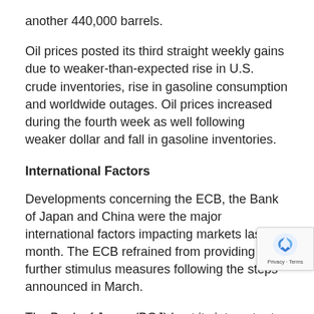another 440,000 barrels.
Oil prices posted its third straight weekly gains due to weaker-than-expected rise in U.S. crude inventories, rise in gasoline consumption and worldwide outages. Oil prices increased during the fourth week as well following weaker dollar and fall in gasoline inventories.
International Factors
Developments concerning the ECB, the Bank of Japan and China were the major international factors impacting markets last month. The ECB refrained from providing further stimulus measures following the steps announced in March.
The Bank of Japan (BOJ) kept its interest rates unchanged and announced no new stimulus measures to control the yen's movement. Consequently, the yen increased about 4% against the dollar to 108.12 yen. A stronger yen